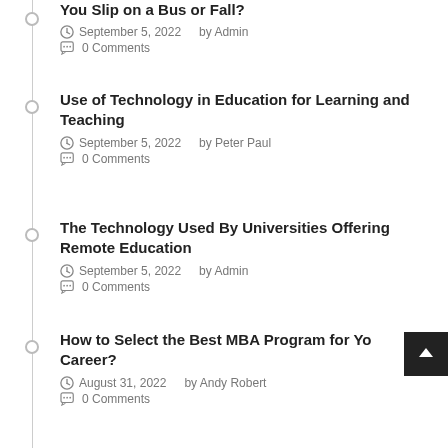You Slip on a Bus or Fall?
September 5, 2022   by Admin
0 Comments
Use of Technology in Education for Learning and Teaching
September 5, 2022   by Peter Paul
0 Comments
The Technology Used By Universities Offering Remote Education
September 5, 2022   by Admin
0 Comments
How to Select the Best MBA Program for Your Career?
August 31, 2022   by Andy Robert
0 Comments